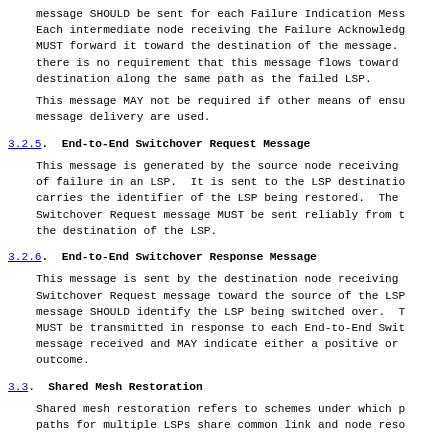message SHOULD be sent for each Failure Indication Mess Each intermediate node receiving the Failure Acknowledg MUST forward it toward the destination of the message. there is no requirement that this message flows toward destination along the same path as the failed LSP.
This message MAY not be required if other means of ensu message delivery are used.
3.2.5.  End-to-End Switchover Request Message
This message is generated by the source node receiving of failure in an LSP.  It is sent to the LSP destinatio carries the identifier of the LSP being restored.  The Switchover Request message MUST be sent reliably from t the destination of the LSP.
3.2.6.  End-to-End Switchover Response Message
This message is sent by the destination node receiving Switchover Request message toward the source of the LSP message SHOULD identify the LSP being switched over.  T MUST be transmitted in response to each End-to-End Swit message received and MAY indicate either a positive or outcome.
3.3.  Shared Mesh Restoration
Shared mesh restoration refers to schemes under which p paths for multiple LSPs share common link and node reso